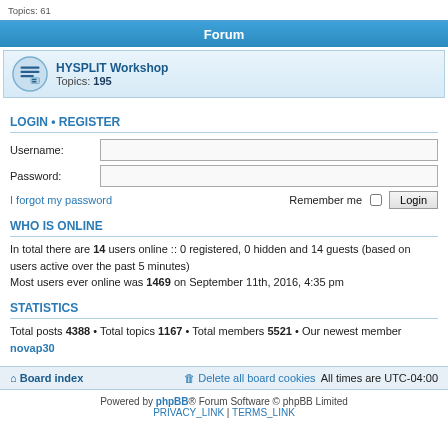Topics: 61
Forum
HYSPLIT Workshop Topics: 195
LOGIN • REGISTER
Username:
Password:
I forgot my password  Remember me  Login
WHO IS ONLINE
In total there are 14 users online :: 0 registered, 0 hidden and 14 guests (based on users active over the past 5 minutes)
Most users ever online was 1469 on September 11th, 2016, 4:35 pm
STATISTICS
Total posts 4388 • Total topics 1167 • Total members 5521 • Our newest member novap30
Board index  Delete all board cookies  All times are UTC-04:00
Powered by phpBB® Forum Software © phpBB Limited
PRIVACY_LINK | TERMS_LINK